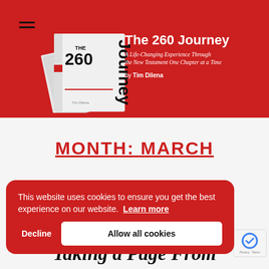[Figure (screenshot): Website header banner with red background showing stacked white books titled 'The 260 Journey' and site navigation hamburger icon]
The 260 Journey
A Life-Changing Experience Through the New Testament One Chapter at a Time
by Tim Dilena
MONTH: MARCH
[Figure (screenshot): Cookie consent banner with red background saying 'This website uses cookies to ensure you get the best experience on our website. Learn more' with Decline and Allow all cookies buttons]
March 31, 2022
Taking a Page From